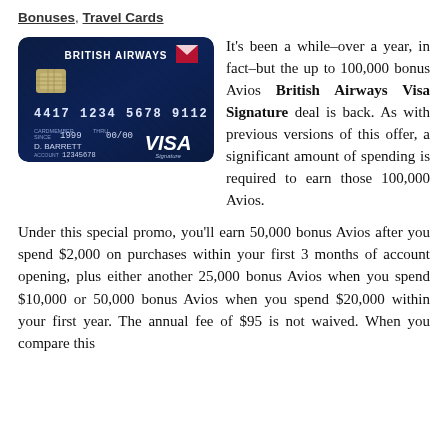Bonuses, Travel Cards
[Figure (photo): British Airways Visa Signature credit card with dark blue textured pattern, showing card number 4417 1234 5678 9112, expiry 1999/00/00, D. Barrett, account 12345678, Visa Signature logo]
It's been a while–over a year, in fact–but the up to 100,000 bonus Avios British Airways Visa Signature deal is back. As with previous versions of this offer, a significant amount of spending is required to earn those 100,000 Avios.
Under this special promo, you'll earn 50,000 bonus Avios after you spend $2,000 on purchases within your first 3 months of account opening, plus either another 25,000 bonus Avios when you spend $10,000 or 50,000 bonus Avios when you spend $20,000 within your first year. The annual fee of $95 is not waived. When you compare this